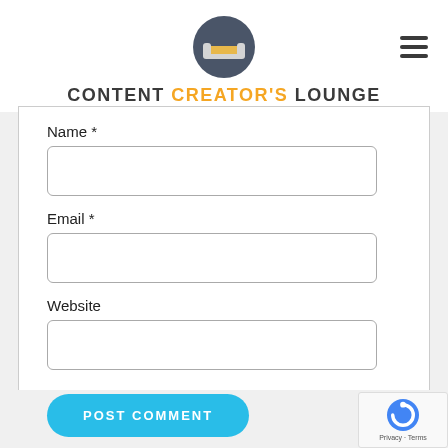[Figure (logo): Content Creator's Lounge circular logo with a sofa/couch icon, dark grey circle]
CONTENT CREATOR'S LOUNGE
Name *
Email *
Website
POST COMMENT